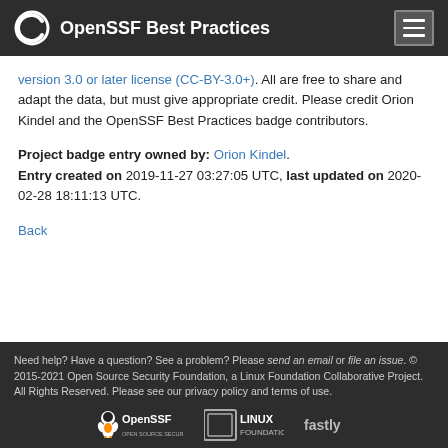OpenSSF Best Practices
version 3.0 or later license (CC-BY-3.0+). All are free to share and adapt the data, but must give appropriate credit. Please credit Orion Kindel and the OpenSSF Best Practices badge contributors.
Project badge entry owned by: Orion Kindel. Entry created on 2019-11-27 03:27:05 UTC, last updated on 2020-02-28 18:11:13 UTC.
Back
Need help? Have a question? See a problem? Please send an email or file an issue. © 2015-2021 Open Source Security Foundation, a Linux Foundation Collaborative Project. All Rights Reserved. Please see our privacy policy and terms of use.